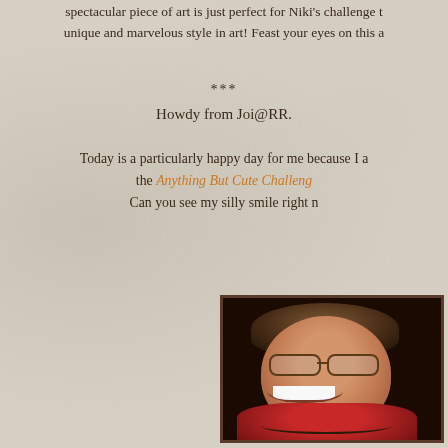spectacular piece of art is just perfect for Niki's challenge t... unique and marvelous style in art! Feast your eyes on this a...
***
Howdy from Joi@RR.
Today is a particularly happy day for me because I a... the Anything But Cute Challenge... Can you see my silly smile right n...
[Figure (photo): Portrait photo of a smiling woman with short brown hair, glasses, wearing a red jacket and black beaded necklace, against a dark background]